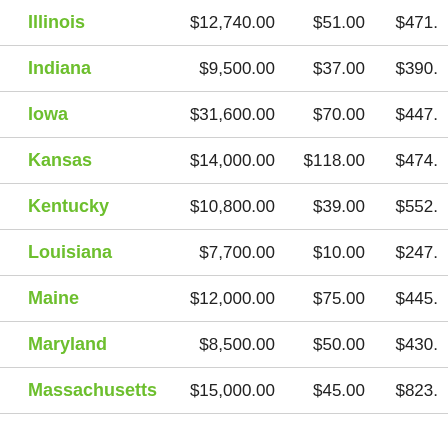| State | Col2 | Col3 | Col4 |
| --- | --- | --- | --- |
| Illinois | $12,740.00 | $51.00 | $471. |
| Indiana | $9,500.00 | $37.00 | $390. |
| Iowa | $31,600.00 | $70.00 | $447. |
| Kansas | $14,000.00 | $118.00 | $474. |
| Kentucky | $10,800.00 | $39.00 | $552. |
| Louisiana | $7,700.00 | $10.00 | $247. |
| Maine | $12,000.00 | $75.00 | $445. |
| Maryland | $8,500.00 | $50.00 | $430. |
| Massachusetts | $15,000.00 | $45.00 | $823. |